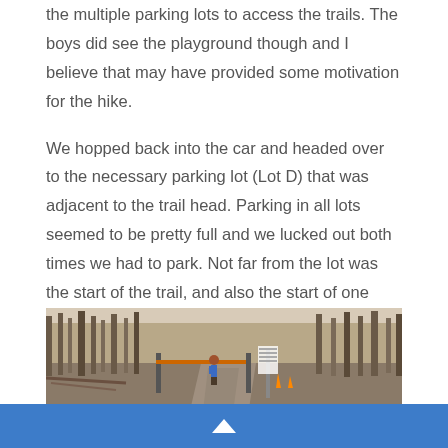the multiple parking lots to access the trails. The boys did see the playground though and I believe that may have provided some motivation for the hike.
We hopped back into the car and headed over to the necessary parking lot (Lot D) that was adjacent to the trail head. Parking in all lots seemed to be pretty full and we lucked out both times we had to park. Not far from the lot was the start of the trail, and also the start of one way driving for cars.
[Figure (photo): Outdoor woodland trail scene showing a trailhead with a gate/barrier and signage. Bare deciduous trees in the background with a dirt path visible. A person in a colorful jacket is visible near the gate.]
^